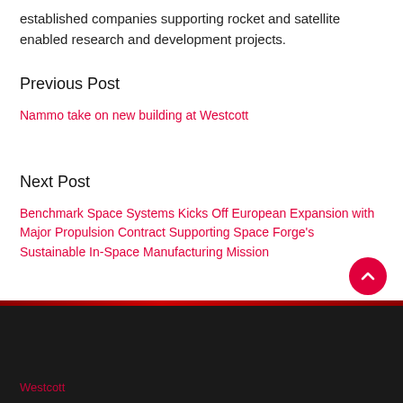established companies supporting rocket and satellite enabled research and development projects.
Previous Post
Nammo take on new building at Westcott
Next Post
Benchmark Space Systems Kicks Off European Expansion with Major Propulsion Contract Supporting Space Forge's Sustainable In-Space Manufacturing Mission